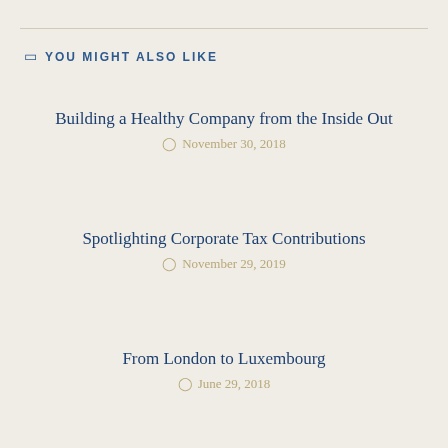YOU MIGHT ALSO LIKE
Building a Healthy Company from the Inside Out
November 30, 2018
Spotlighting Corporate Tax Contributions
November 29, 2019
From London to Luxembourg
June 29, 2018